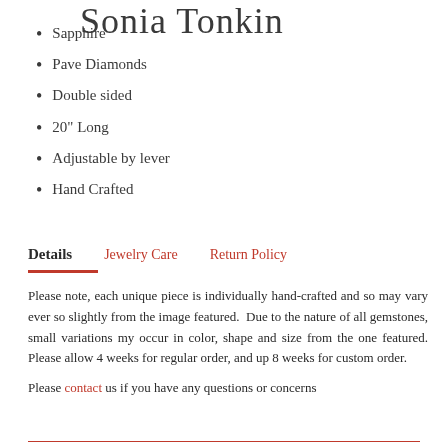Sonia Tonkin
Sapphire
Pave Diamonds
Double sided
20" Long
Adjustable by lever
Hand Crafted
Details    Jewelry Care    Return Policy
Please note, each unique piece is individually hand-crafted and so may vary ever so slightly from the image featured. Due to the nature of all gemstones, small variations my occur in color, shape and size from the one featured. Please allow 4 weeks for regular order, and up 8 weeks for custom order.
Please contact us if you have any questions or concerns